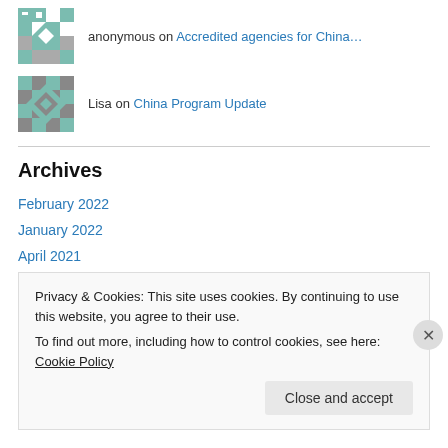[Figure (illustration): Tiled avatar icon with geometric green and gray pattern for anonymous user]
anonymous on Accredited agencies for China…
[Figure (illustration): Tiled avatar icon with geometric green and gray pattern for Lisa]
Lisa on China Program Update
Archives
February 2022
January 2022
April 2021
March 2021
July 2020
Privacy & Cookies: This site uses cookies. By continuing to use this website, you agree to their use.
To find out more, including how to control cookies, see here: Cookie Policy
Close and accept